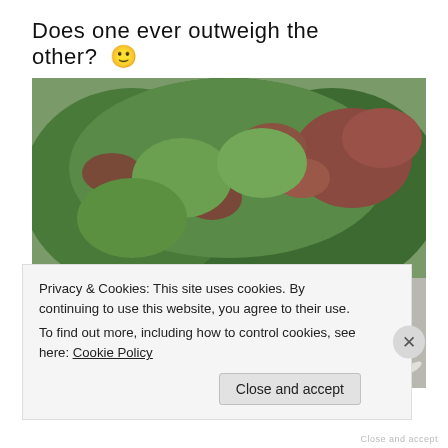Does one ever outweigh the other? 🙂
[Figure (photo): Outdoor photo of green and reddish-brown shrub/bush with many small white flower petals fallen on grey pavement/stone surface around it.]
Privacy & Cookies: This site uses cookies. By continuing to use this website, you agree to their use.
To find out more, including how to control cookies, see here: Cookie Policy
Close and accept